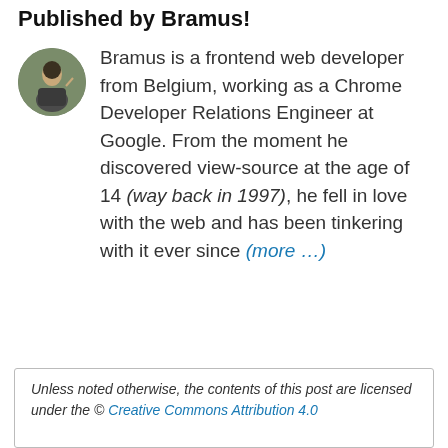Published by Bramus!
Bramus is a frontend web developer from Belgium, working as a Chrome Developer Relations Engineer at Google. From the moment he discovered view-source at the age of 14 (way back in 1997), he fell in love with the web and has been tinkering with it ever since (more …)
[Figure (photo): Circular avatar photo of Bramus, a person speaking or presenting in front of a green/yellow background]
Unless noted otherwise, the contents of this post are licensed under the © Creative Commons Attribution 4.0